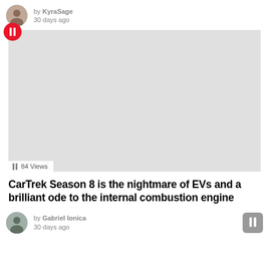by KyraSage
30 days ago
[Figure (photo): Thumbnail placeholder image (light gray rectangle) with a red circular badge containing a bookmark/pause icon in the top-left, and a '84 Views' label at the bottom-left.]
CarTrek Season 8 is the nightmare of EVs and a brilliant ode to the internal combustion engine
by Gabriel Ionica
30 days ago